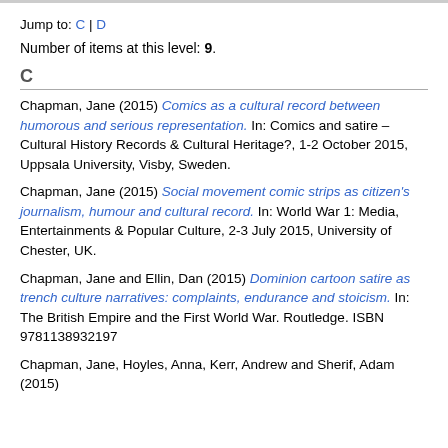Jump to: C | D
Number of items at this level: 9.
C
Chapman, Jane (2015) Comics as a cultural record between humorous and serious representation. In: Comics and satire – Cultural History Records & Cultural Heritage?, 1-2 October 2015, Uppsala University, Visby, Sweden.
Chapman, Jane (2015) Social movement comic strips as citizen's journalism, humour and cultural record. In: World War 1: Media, Entertainments & Popular Culture, 2-3 July 2015, University of Chester, UK.
Chapman, Jane and Ellin, Dan (2015) Dominion cartoon satire as trench culture narratives: complaints, endurance and stoicism. In: The British Empire and the First World War. Routledge. ISBN 9781138932197
Chapman, Jane, Hoyles, Anna, Kerr, Andrew and Sherif, Adam (2015)